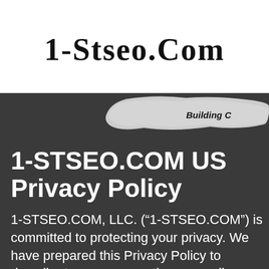[Figure (logo): Handwritten-style logo text reading '1-Stseo.Com' in thick brush font on white background]
[Figure (illustration): White paint brush stroke banner with bold italic text 'Building C' partially visible on dark background]
1-STSEO.COM US Privacy Policy
1-STSEO.COM, LLC. (“1-STSEO.COM”) is committed to protecting your privacy. We have prepared this Privacy Policy to describe to you our practices regarding